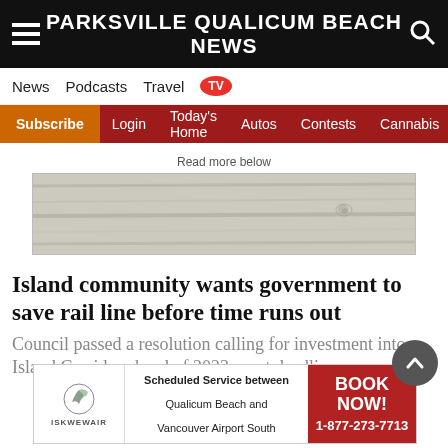PARKSVILLE QUALICUM BEACH NEWS
News  Podcasts  Travel  TV
Subscribe  Login  Today's Home  Autos  Contests  Cannabis
Read more below
[Figure (photo): Advertisement banner with wood plank texture background]
Island community wants government to save rail line before time runs out
Council passed a resolution calling for investment into Island Corridor ahead of 2023 court deadline
[Figure (infographic): Iskwew Air advertisement: Scheduled Service between Qualicum Beach and Vancouver Airport South. BOOK NOW! 1-877-273-7713]